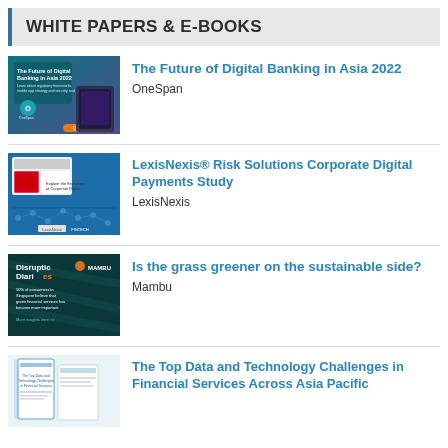WHITE PAPERS & E-BOOKS
[Figure (illustration): Thumbnail for 'The Future of Digital Banking in Asia 2022' by OneSpan — teal/purple background with mobile device graphic and Download now button]
The Future of Digital Banking in Asia 2022
OneSpan
[Figure (illustration): Thumbnail for LexisNexis Risk Solutions Corporate Digital Payments Study — blue background with Singapore flag graphic and network nodes]
LexisNexis® Risk Solutions Corporate Digital Payments Study
LexisNexis
[Figure (illustration): Thumbnail for 'Is the grass greener on the sustainable side?' by Mambu — dark teal background with Disruption Diaries branding and Mambu logo]
Is the grass greener on the sustainable side?
Mambu
[Figure (illustration): Thumbnail for 'The Top Data and Technology Challenges in Financial Services Across Asia Pacific' — light blue/white document cover]
The Top Data and Technology Challenges in Financial Services Across Asia Pacific